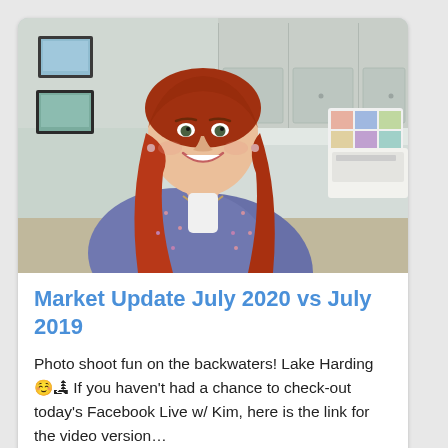[Figure (photo): A smiling woman with long red hair wearing a floral patterned blue/purple dress, standing in a bright room with white/grey cabinets and framed pictures on the wall in the background.]
Market Update July 2020 vs July 2019
Photo shoot fun on the backwaters! Lake Harding 😊🏞 If you haven't had a chance to check-out today's Facebook Live w/ Kim, here is the link for the video version…